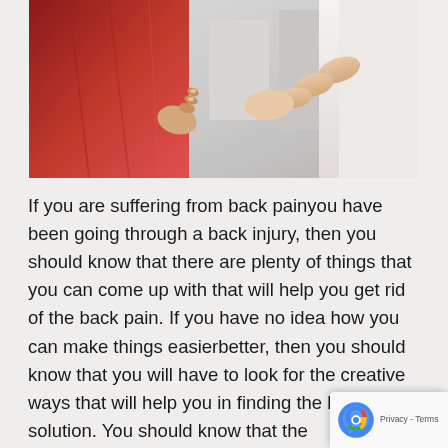[Figure (photo): A person in a red shirt holding their lower back in pain, while a healthcare professional in white clothing (physiotherapist) examines or touches the patient's back. Medical/clinical setting in background.]
If you are suffering from back painyou have been going through a back injury, then you should know that there are plenty of things that you can come up with that will help you get rid of the back pain. If you have no idea how you can make things easierbetter, then you should know that you will have to look for the creative ways that will help you in finding the best solution. You should know that the physiotherapy is one of the best ways to procee will be able to get the desired results. If you hav idea how you can make things easierbetter for